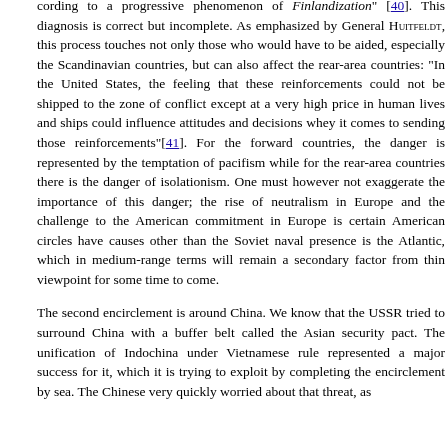cording to a progressive phenomenon of Finlandization" [40]. This diagnosis is correct but incomplete. As emphasized by General Huitfeldt, this process touches not only those who would have to be aided, especially the Scandinavian countries, but can also affect the rear-area countries: "In the United States, the feeling that these reinforcements could not be shipped to the zone of conflict except at a very high price in human lives and ships could influence attitudes and decisions whey it comes to sending those reinforcements"[41]. For the forward countries, the danger is represented by the temptation of pacifism while for the rear-area countries there is the danger of isolationism. One must however not exaggerate the importance of this danger; the rise of neutralism in Europe and the challenge to the American commitment in Europe is certain American circles have causes other than the Soviet naval presence is the Atlantic, which in medium-range terms will remain a secondary factor from thin viewpoint for some time to come.
The second encirclement is around China. We know that the USSR tried to surround China with a buffer belt called the Asian security pact. The unification of Indochina under Vietnamese rule represented a major success for it, which it is trying to exploit by completing the encirclement by sea. The Chinese very quickly worried about that threat, as